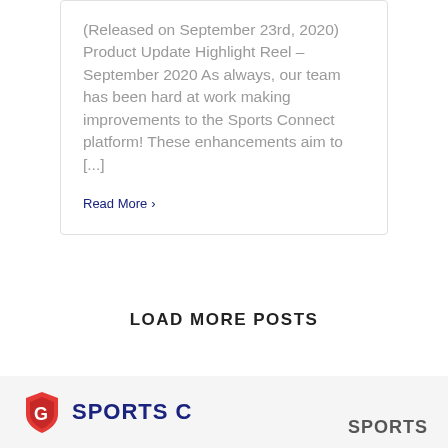(Released on September 23rd, 2020) Product Update Highlight Reel – September 2020 As always, our team has been hard at work making improvements to the Sports Connect platform! These enhancements aim to [...]
Read More >
LOAD MORE POSTS
[Figure (logo): Sports Connect logo with red shield icon and blue text 'SPORTS C' on a light grey footer bar, with partial 'SPORTS' text on the right side]